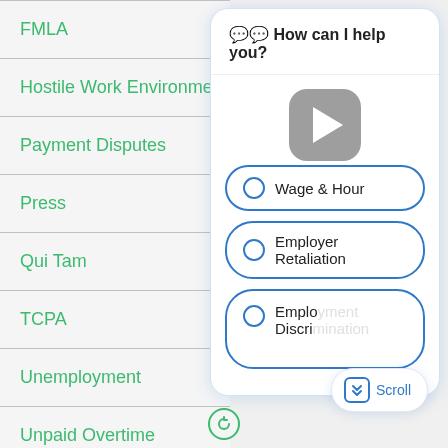FMLA
Hostile Work Environment
Payment Disputes
Press
Qui Tam
TCPA
Unemployment
Unpaid Overtime
Whistleblower Retaliation
[Figure (screenshot): Chat popup overlay with header 'How can I help you?', a play button, and radio button options: Wage & Hour, Employer Retaliation, Employment Discrimination. A scroll hint button is visible at bottom right.]